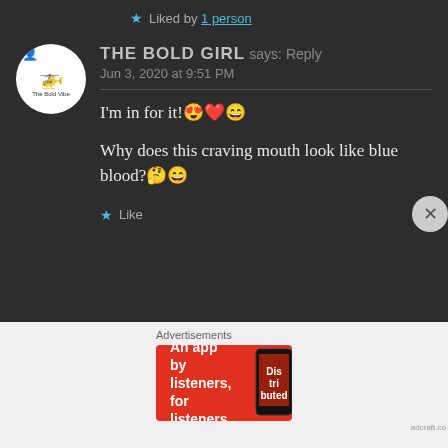★ Liked by 1 person
THE BOLD GIRL says: Reply
Jun 3, 2020 at 9:51 PM
I'm in for it!😍❤️😄
Why does this craving mouth look like blue blood?🤔😄
★ Like
[Figure (screenshot): Advertisement banner for Pocket Casts app — red background with text 'An app by listeners, for listeners.' and Pocket Casts logo]
Advertisements